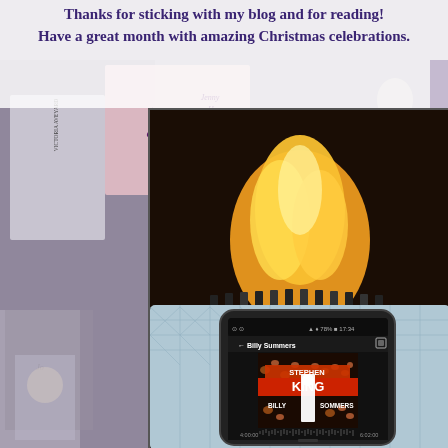Thanks for sticking with my blog and for reading! Have a great month with amazing Christmas celebrations.
[Figure (photo): Background collage of book covers including Victoria Aveyard, To All the Boys by Jenny Han, and other titles, with a muted purple-grey overlay. Foreground: a smartphone displaying the audiobook 'Billy Summers' by Stephen King on an audiobook app, resting on a cozy knitted blanket in front of a fireplace with orange flames. The phone screen shows the book cover with Stephen King's name and 'BILLY SUMMERS' text, with a progress bar at bottom showing 4:00:00 and 6:02:00 timestamps.]